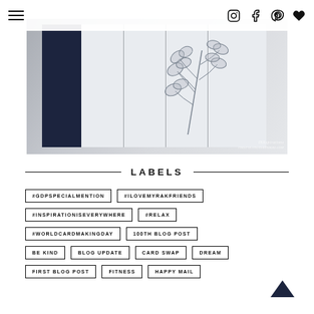Navigation header with hamburger menu and social icons (Instagram, Facebook, Pinterest, Heart)
[Figure (photo): Handmade greeting card with navy blue panel and botanical leaf stamping on light blue/white striped background, photographed on a flat surface with crafting supplies. Watermark reads 'INKspirations' in the lower right.]
LABELS
#GDPSPECIALMENTION
#ILOVEMYRAKFRIENDS
#INSPIRATIONISEVERYWHERE
#RELAX
#WORLDCARDMAKINGDAY
100TH BLOG POST
BE KIND
BLOG UPDATE
CARD SWAP
DREAM
FIRST BLOG POST
FITNESS
HAPPY MAIL